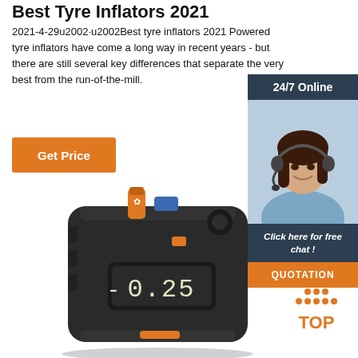Best Tyre Inflators 2021
2021-4-29u2002·u2002Best tyre inflators 2021 Powered tyre inflators have come a long way in recent years - but there are still several key differences that separate the very best from the run-of-the-mill.
[Figure (other): Orange 'Get Price' button]
[Figure (other): Customer service agent sidebar with '24/7 Online' header, woman wearing headset, 'Click here for free chat!' text, and orange QUOTATION button]
[Figure (photo): Portable tyre inflator device in dark gray/black with orange accents showing digital display reading approximately 0.25]
[Figure (other): Orange TOP badge with dotted triangle icon above the word TOP in orange letters]